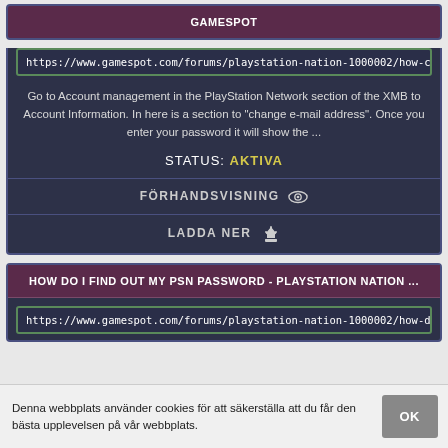GAMESPOT
https://www.gamespot.com/forums/playstation-nation-1000002/how-can
Go to Account management in the PlayStation Network section of the XMB to Account Information. In here is a section to "change e-mail address". Once you enter your password it will show the ...
STATUS: AKTIVA
FÖRHANDSVISNING
LADDA NER
HOW DO I FIND OUT MY PSN PASSWORD - PLAYSTATION NATION ...
https://www.gamespot.com/forums/playstation-nation-1000002/how-do-
Denna webbplats använder cookies för att säkerställa att du får den bästa upplevelsen på vår webbplats.